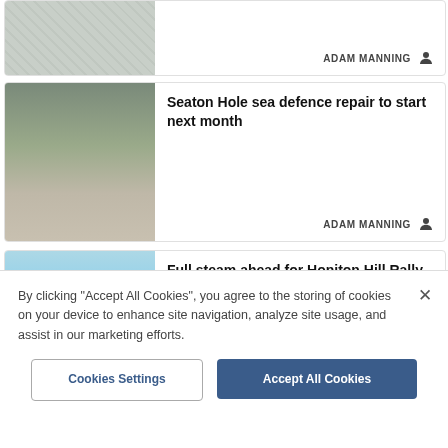[Figure (photo): Partial card top: map/aerial image with route overlay]
ADAM MANNING
[Figure (photo): Rocky beach with boulders and sea defence structures]
Seaton Hole sea defence repair to start next month
ADAM MANNING
[Figure (photo): Fairground ride (swingboat/carousel) at outdoor event with crowd]
Full steam ahead for Honiton Hill Rally on bank holiday weekend
By clicking "Accept All Cookies", you agree to the storing of cookies on your device to enhance site navigation, analyze site usage, and assist in our marketing efforts.
Cookies Settings
Accept All Cookies